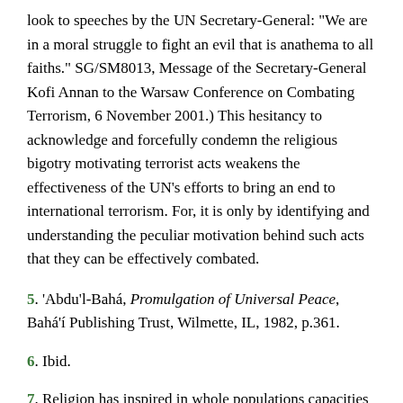look to speeches by the UN Secretary-General: "We are in a moral struggle to fight an evil that is anathema to all faiths." SG/SM8013, Message of the Secretary-General Kofi Annan to the Warsaw Conference on Combating Terrorism, 6 November 2001.) This hesitancy to acknowledge and forcefully condemn the religious bigotry motivating terrorist acts weakens the effectiveness of the UN's efforts to bring an end to international terrorism. For, it is only by identifying and understanding the peculiar motivation behind such acts that they can be effectively combated.
5. 'Abdu'l-Bahá, Promulgation of Universal Peace, Bahá'í Publishing Trust, Wilmette, IL, 1982, p.361.
6. Ibid.
7. Religion has inspired in whole populations capacities to love, to forgive, to create, to dare greatly, to overcome prejudice, to sacrifice for the common good and to discipline the impulses of animal instincts. Against all odds and with little in the way of meaningful encouragement, it continues to sustain the struggle for survival of uncounted millions, and to raise up in all lands heroes and saints